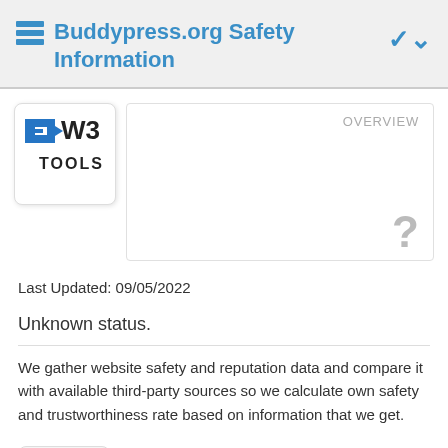Buddypress.org Safety Information
[Figure (logo): W3 Tools logo — blue and dark stylized W3 icon with 'W3 TOOLS' text]
OVERVIEW
Last Updated: 09/05/2022
Unknown status.
We gather website safety and reputation data and compare it with available third-party sources so we calculate own safety and trustworthiness rate based on information that we get.